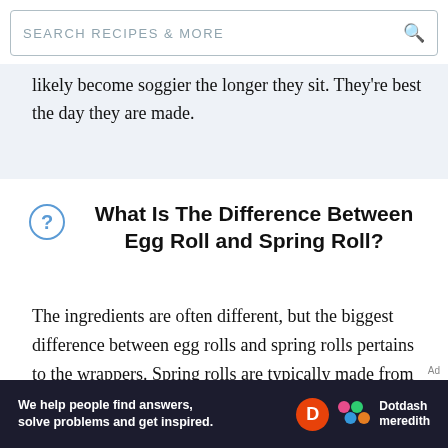SEARCH RECIPES & MORE
likely become soggier the longer they sit. They're best the day they are made.
What Is The Difference Between Egg Roll and Spring Roll?
The ingredients are often different, but the biggest difference between egg rolls and spring rolls pertains to the wrappers. Spring rolls are typically made from either thin flour or rice wrappers, whereas egg rolls have a thicker and crispier wrapper made
[Figure (logo): Dotdash Meredith advertisement banner with text: We help people find answers, solve problems and get inspired.]